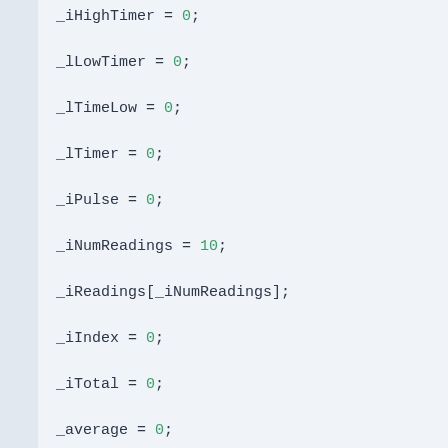_iHighTimer = 0;
_lLowTimer = 0;
_lTimeLow = 0;
_lTimer = 0;
_iPulse = 0;
_iNumReadings = 10;
_iReadings[_iNumReadings];
_iIndex = 0;
_iTotal = 0;
_average = 0;
_bCurState = false;